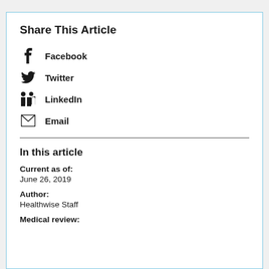Share This Article
Facebook
Twitter
LinkedIn
Email
In this article
Current as of:
June 26, 2019
Author:
Healthwise Staff
Medical review: